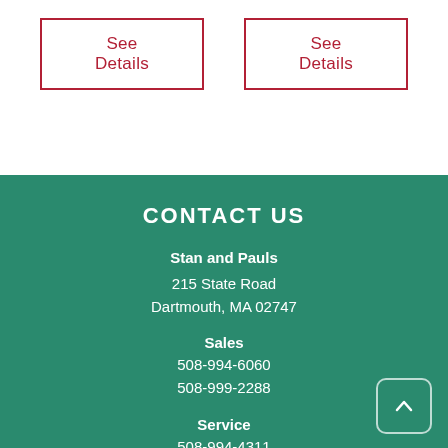See Details
See Details
CONTACT US
Stan and Pauls
215 State Road
Dartmouth, MA 02747
Sales
508-994-6060
508-999-2288
Service
508-994-4311
sales@stanandpauls.com